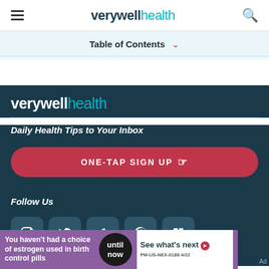verywell health
Table of Contents
[Figure (logo): Verywell Health logo in white text on dark teal background in footer]
Daily Health Tips to Your Inbox
ONE-TAP SIGN UP
Follow Us
[Figure (infographic): Social media icons: Instagram, Twitter, Facebook, Pinterest, Flipboard]
[Figure (infographic): Advertisement banner: 'You haven't had a choice of estrogen used in birth control pills' with 'until now' circle and 'See what's next' call to action. PM-US-NEX-0188 4/22]